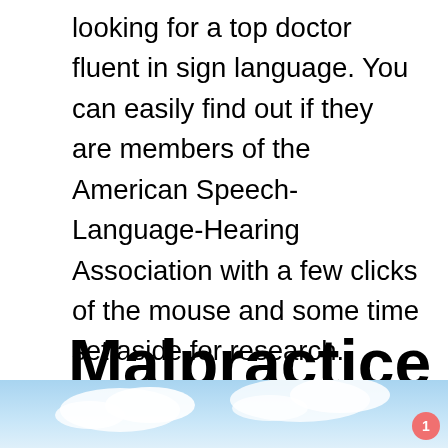looking for a top doctor fluent in sign language. You can easily find out if they are members of the American Speech-Language-Hearing Association with a few clicks of the mouse and some time set aside for research. While you could technically accomplish the same results with a phone call, searchable databases make learning about your potential physician ahead of time simpler.
Malpractice Complaints
[Figure (photo): Blue sky with clouds, partial view at the bottom of the page]